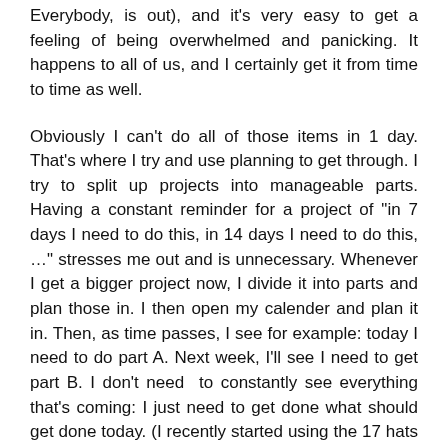Everybody, is out), and it's very easy to get a feeling of being overwhelmed and panicking. It happens to all of us, and I certainly get it from time to time as well.
Obviously I can't do all of those items in 1 day. That's where I try and use planning to get through. I try to split up projects into manageable parts. Having a constant reminder for a project of "in 7 days I need to do this, in 14 days I need to do this, …" stresses me out and is unnecessary. Whenever I get a bigger project now, I divide it into parts and plan those in. I then open my calender and plan it in. Then, as time passes, I see for example: today I need to do part A. Next week, I'll see I need to get part B. I don't need to constantly see everything that's coming: I just need to get done what should get done today. (I recently started using the 17 hats software for this, recommended by Dan Salcumbe).